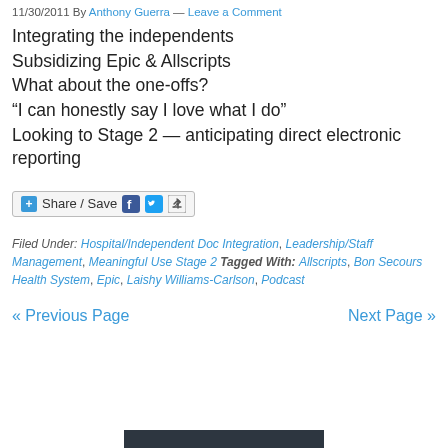11/30/2011 By Anthony Guerra — Leave a Comment
Integrating the independents
Subsidizing Epic & Allscripts
What about the one-offs?
“I can honestly say I love what I do”
Looking to Stage 2 — anticipating direct electronic reporting
[Figure (other): Share / Save button with Facebook, Twitter, and share icons]
Filed Under: Hospital/Independent Doc Integration, Leadership/Staff Management, Meaningful Use Stage 2 Tagged With: Allscripts, Bon Secours Health System, Epic, Laishy Williams-Carlson, Podcast
« Previous Page    Next Page »